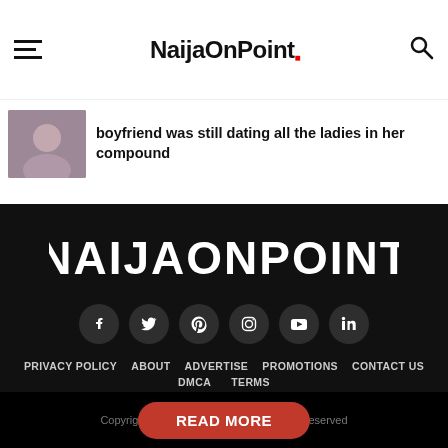NaijaOnPoint
boyfriend was still dating all the ladies in her compound
[Figure (logo): NaijaOnPoint website logo in large white bold uppercase letters on black background]
[Figure (infographic): Social media icons row: Facebook, Twitter, Pinterest, Instagram, YouTube, LinkedIn — white icons on dark circular backgrounds]
PRIVACY POLICY
ABOUT
ADVERTISE
PROMOTIONS
CONTACT US
DMCA
TERMS
Copyright © 2024 NaijaOnPoint. All rights reserved